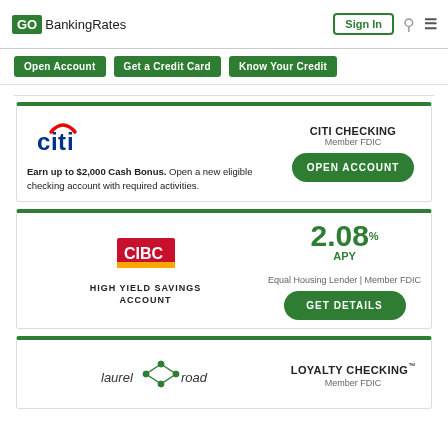GOBankingRates | Sign In
Open Account | Get a Credit Card | Know Your Credit
[Figure (logo): Citi bank logo with red arc and blue citi text]
Earn up to $2,000 Cash Bonus. Open a new eligible checking account with required activities.
CITI CHECKING
Member FDIC
OPEN ACCOUNT
[Figure (logo): CIBC bank logo - red rectangle with gold stripe]
HIGH YIELD SAVINGS ACCOUNT
2.08% APY
Equal Housing Lender | Member FDIC
GET DETAILS
[Figure (logo): Laurel Road logo with connected nodes graphic]
LOYALTY CHECKING™
Member FDIC